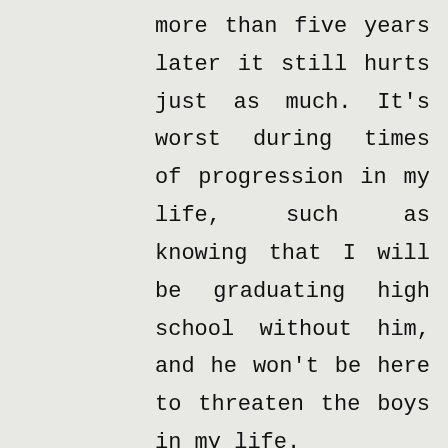more than five years later it still hurts just as much. It's worst during times of progression in my life, such as knowing that I will be graduating high school without him, and he won't be here to threaten the boys in my life. But at the same time I have to thank his cancer for bettering